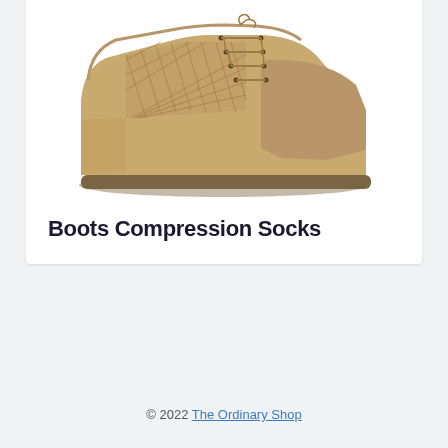[Figure (photo): A tan/coyote brown tactical military boot with suede upper and mesh ventilation panel on the side, brown laces, photographed from the side on white background.]
Boots Compression Socks
© 2022 The Ordinary Shop